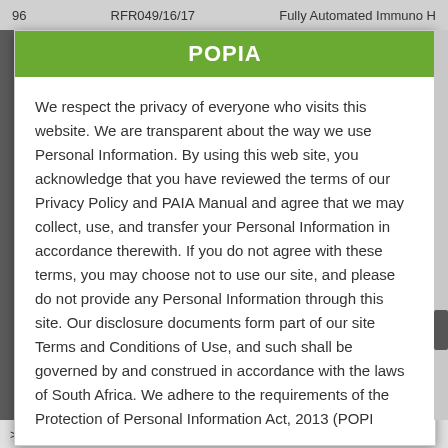96    RFR049/16/17    Fully Automated Immuno H
POPIA
We respect the privacy of everyone who visits this website. We are transparent about the way we use Personal Information. By using this web site, you acknowledge that you have reviewed the terms of our Privacy Policy and PAIA Manual and agree that we may collect, use, and transfer your Personal Information in accordance therewith. If you do not agree with these terms, you may choose not to use our site, and please do not provide any Personal Information through this site. Our disclosure documents form part of our site Terms and Conditions of Use, and such shall be governed by and construed in accordance with the laws of South Africa. We adhere to the requirements of the Protection of Personal Information Act, 2013 (POPI
> Latest RFOs